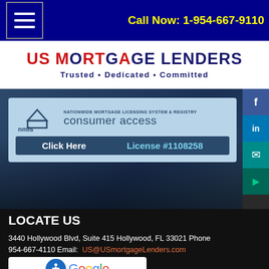Call Now: 1-954-667-9110
[Figure (logo): US Mortgage Lenders logo banner - Trusted • Dedicated • Committed]
[Figure (logo): NMLS Consumer Access badge - Nationwide Mortgage Licensing System & Registry - Click Here - License #1108258]
LOCATE US
3440 Hollywood Blvd, Suite 415 Hollywood, FL 33021 Phone 954-667-4110 Email: US@USmortgageLenders.com
[Figure (logo): Google reviews badge with accessibility icon and star ratings]